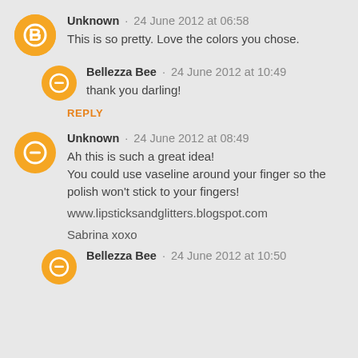Unknown · 24 June 2012 at 06:58
This is so pretty. Love the colors you chose.
Bellezza Bee · 24 June 2012 at 10:49
thank you darling!
REPLY
Unknown · 24 June 2012 at 08:49
Ah this is such a great idea!
You could use vaseline around your finger so the polish won't stick to your fingers!

www.lipsticksandglitters.blogspot.com

Sabrina xoxo
Bellezza Bee · 24 June 2012 at 10:50